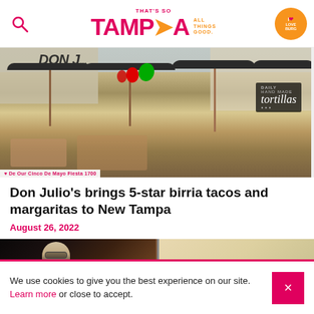That's So Tampa — All Things Good.
[Figure (photo): Outdoor patio of Don Julio's restaurant with people dining under dark umbrellas, red and green balloons, and a sign reading 'daily handmade tortillas']
Don Julio's brings 5-star birria tacos and margaritas to New Tampa
August 26, 2022
[Figure (photo): Close-up of a man wearing glasses at what appears to be a bar or restaurant setting]
We use cookies to give you the best experience on our site. Learn more or close to accept.